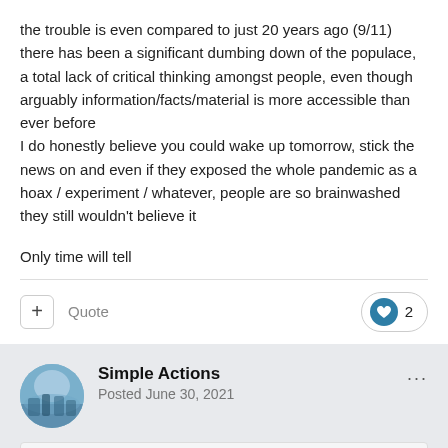the trouble is even compared to just 20 years ago (9/11) there has been a significant dumbing down of the populace, a total lack of critical thinking amongst people, even though arguably information/facts/material is more accessible than ever before
I do honestly believe you could wake up tomorrow, stick the news on and even if they exposed the whole pandemic as a hoax / experiment / whatever, people are so brainwashed they still wouldn't believe it

Only time will tell
+ Quote
2
Simple Actions
Posted June 30, 2021